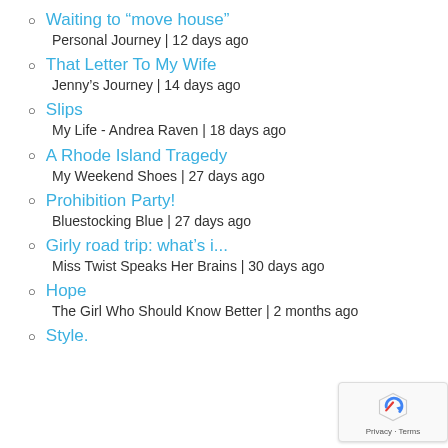Waiting to “move house”
Personal Journey | 12 days ago
That Letter To My Wife
Jenny’s Journey | 14 days ago
Slips
My Life - Andrea Raven | 18 days ago
A Rhode Island Tragedy
My Weekend Shoes | 27 days ago
Prohibition Party!
Bluestocking Blue | 27 days ago
Girly road trip: what’s i...
Miss Twist Speaks Her Brains | 30 days ago
Hope
The Girl Who Should Know Better | 2 months ago
Style.